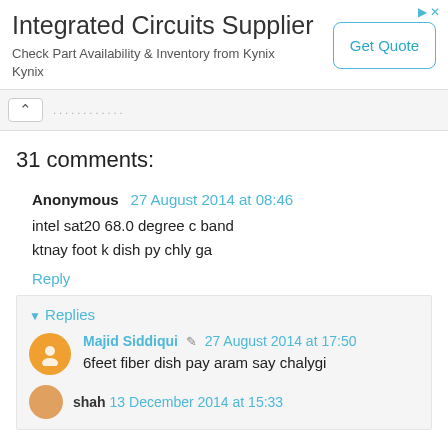[Figure (other): Advertisement banner for Integrated Circuits Supplier by Kynix with a Get Quote button]
31 comments:
Anonymous  27 August 2014 at 08:46
intel sat20 68.0 degree c band
ktnay foot k dish py chly ga
Reply
Replies
Majid Siddiqui  27 August 2014 at 17:50
6feet fiber dish pay aram say chalygi